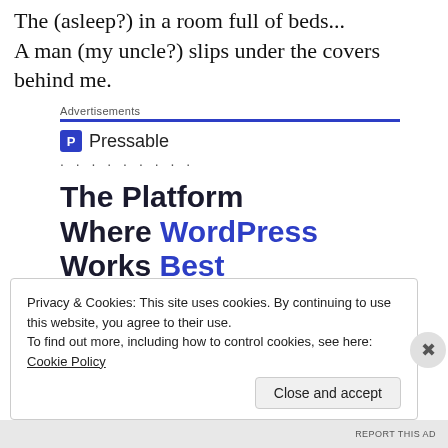The (asleep?) in a room full of beds... A man (my uncle?) slips under the covers behind me.
[Figure (infographic): Pressable advertisement banner. Shows 'Advertisements' label with blue underline, Pressable logo (blue P icon) with name, dotted separator row, and headline 'The Platform Where WordPress Works Best' with 'WordPress' and 'Best' in blue, plus a partial blue button at bottom.]
Privacy & Cookies: This site uses cookies. By continuing to use this website, you agree to their use.
To find out more, including how to control cookies, see here: Cookie Policy
Close and accept
REPORT THIS AD